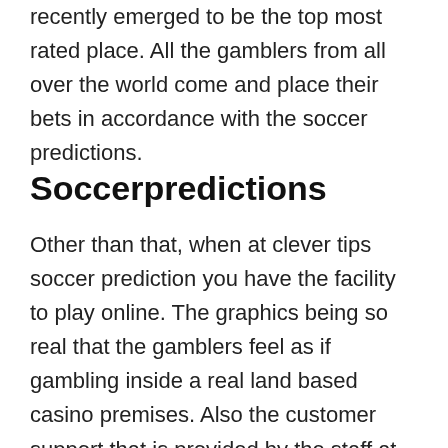recently emerged to be the top most rated place. All the gamblers from all over the world come and place their bets in accordance with the soccer predictions.
Soccerpredictions
Other than that, when at clever tips soccer prediction you have the facility to play online. The graphics being so real that the gamblers feel as if gambling inside a real land based casino premises. Also the customer support that is provided by the staff at soccer predictions is uncomparable to any other in this